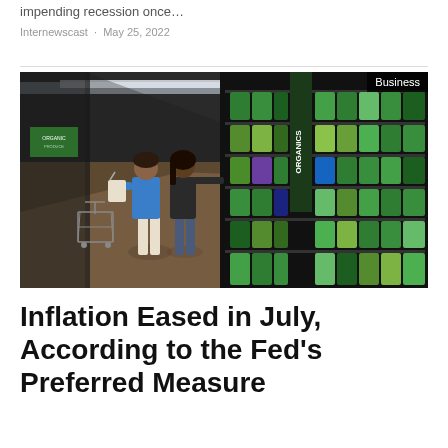impending recession once…
Internewscast · May 25, 2022
[Figure (photo): Two women shopping in a grocery store produce/packaged greens aisle with shelves full of bagged salads and vegetables including an Organics section, fluorescent lighting overhead, shopping cart visible on left.]
Business
Inflation Eased in July, According to the Fed's Preferred Measure